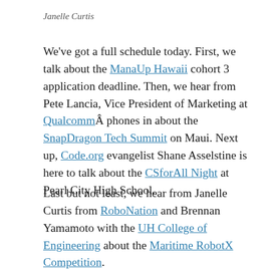Janelle Curtis
We've got a full schedule today. First, we talk about the ManaUp Hawaii cohort 3 application deadline. Then, we hear from Pete Lancia, Vice President of Marketing at QualcommÂ phones in about the SnapDragon Tech Summit on Maui. Next up, Code.org evangelist Shane Asselstine is here to talk about the CSforAll Night at Pearl City High School.
Last but not least, we hear from Janelle Curtis from RoboNation and Brennan Yamamoto with the UH College of Engineering about the Maritime RobotX Competition.